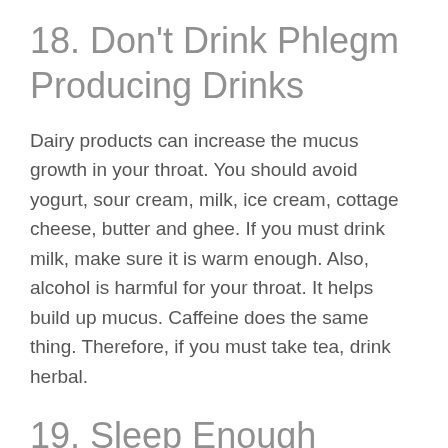18. Don't Drink Phlegm Producing Drinks
Dairy products can increase the mucus growth in your throat. You should avoid yogurt, sour cream, milk, ice cream, cottage cheese, butter and ghee. If you must drink milk, make sure it is warm enough. Also, alcohol is harmful for your throat. It helps build up mucus. Caffeine does the same thing. Therefore, if you must take tea, drink herbal.
19. Sleep Enough
Enough sleep is necessary to increase the healing mucus performance. Just make sure that you take the